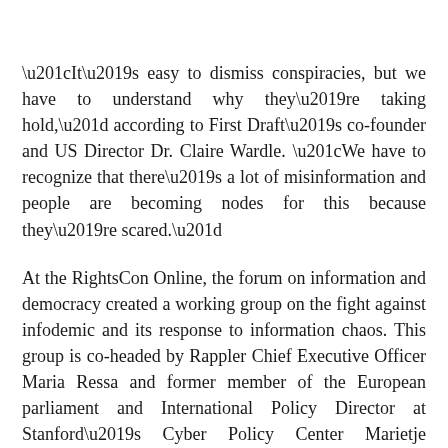“It’s easy to dismiss conspiracies, but we have to understand why they’re taking hold,” according to First Draft’s co-founder and US Director Dr. Claire Wardle. “We have to recognize that there’s a lot of misinformation and people are becoming nodes for this because they’re scared.”
At the RightsCon Online, the forum on information and democracy created a working group on the fight against infodemic and its response to information chaos. This group is co-headed by Rappler Chief Executive Officer Maria Ressa and former member of the European parliament and International Policy Director at Stanford’s Cyber Policy Center Marietje Schaake. Final recommendations would be presented to the signatory, the States of the International Partnership on Information and Democracy.
Participation in the inaugural working group does not end at RightsCon Online. Experts, academics and jurists all over the world can still contribute to define a policy framework